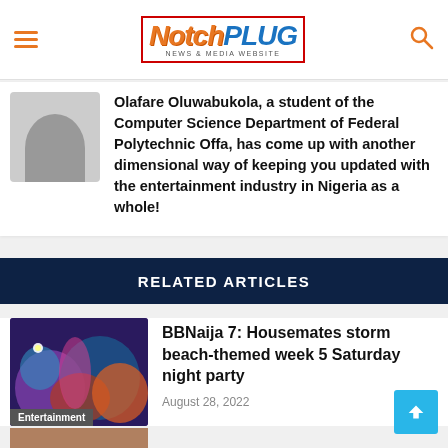NotchPLUG - News & Media Website
Olafare Oluwabukola, a student of the Computer Science Department of Federal Polytechnic Offa, has come up with another dimensional way of keeping you updated with the entertainment industry in Nigeria as a whole!
RELATED ARTICLES
[Figure (photo): Thumbnail image of BBNaija 7 beach-themed party with colorful lighting and performers, labeled Entertainment]
BBNaija 7: Housemates storm beach-themed week 5 Saturday night party
August 28, 2022